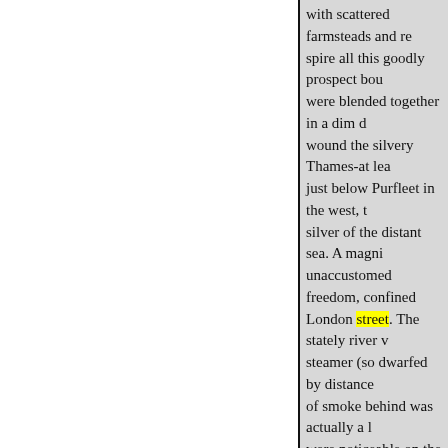with scattered farmsteads and re spire all this goodly prospect bou were blended together in a dim d wound the silvery Thames-at lea just below Purfleet in the west, t silver of the distant sea. A magni unaccustomed freedom, confined London street. The stately river v steamer (so dwarfed by distance of smoke behind was actually a l were noticeable on the water, the effect of the picture by the life th
pass on and on, and go From less
.
Yet, though now so little know described by travellers of the las
« Ankstesnis